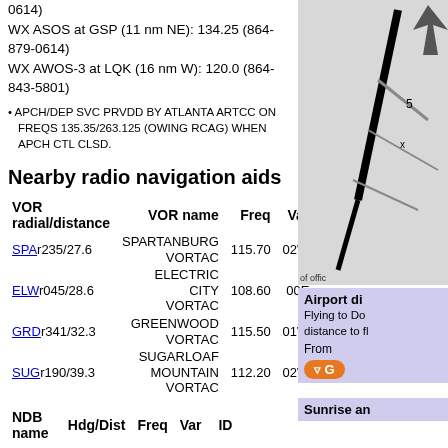0614)
WX ASOS at GSP (11 nm NE): 134.25 (864-879-0614)
WX AWOS-3 at LQK (16 nm W): 120.0 (864-843-5801)
APCH/DEP SVC PRVDD BY ATLANTA ARTCC ON FREQS 135.35/263.125 (OWING RCAG) WHEN APCH CTL CLSD.
Nearby radio navigation aids
| VOR radial/distance | VOR name | Freq | Var |
| --- | --- | --- | --- |
| SPAr235/27.6 | SPARTANBURG VORTAC | 115.70 | 02W |
| ELWr045/28.6 | ELECTRIC CITY VORTAC | 108.60 | 00E |
| GRDr341/32.3 | GREENWOOD VORTAC | 115.50 | 01W |
| SUGr190/39.3 | SUGARLOAF MOUNTAIN VORTAC | 112.20 | 02W |
| NDB name | Hdg/Dist | Freq | Var | ID |
| --- | --- | --- | --- | --- |
| JUDKY | 230/1.9 | 521 | 05W | GM | --. | -- |
| DYANA | 043/5.2 | 338 | 04W | GY | --· | ·-· |
[Figure (other): Airport diagram showing runway layout]
of offic
Airport di
Flying to Do
distance to fl
From
Sunrise an